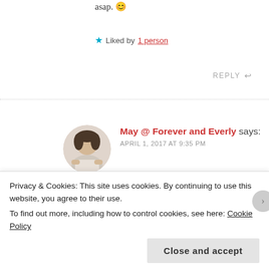asap. 😊
★ Liked by 1 person
REPLY ↩
May @ Forever and Everly says:
APRIL 1, 2017 AT 9:35 PM
You are most welcome!
★ Liked by 1 person
Privacy & Cookies: This site uses cookies. By continuing to use this website, you agree to their use.
To find out more, including how to control cookies, see here: Cookie Policy
Close and accept